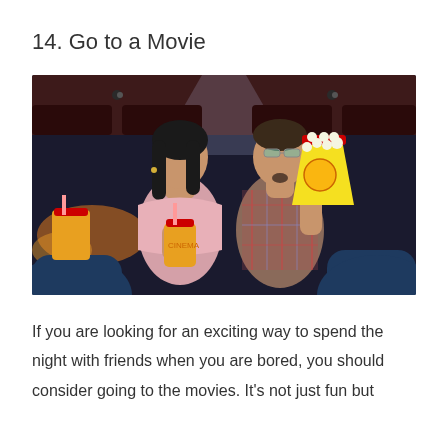14. Go to a Movie
[Figure (photo): A couple sitting in a movie theater, looking up at the screen. The woman on the left wears a pink off-shoulder top and holds a large drink with a straw. The man on the right wears a plaid shirt and holds a bag of popcorn. The theater seats are dark blue, and a beam of projector light is visible above. Warm orange and yellow lights glow in the background.]
If you are looking for an exciting way to spend the night with friends when you are bored, you should consider going to the movies. It's not just fun but